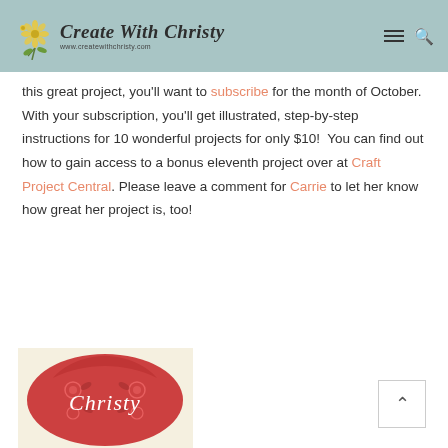Create With Christy — www.createwithchristy.com
this great project, you'll want to subscribe for the month of October.  With your subscription, you'll get illustrated, step-by-step instructions for 10 wonderful projects for only $10!  You can find out how to gain access to a bonus eleventh project over at Craft Project Central. Please leave a comment for Carrie to let her know how great her project is, too!
[Figure (illustration): Red decorative oval badge with floral folk art pattern and the name 'Christy' in white script text]